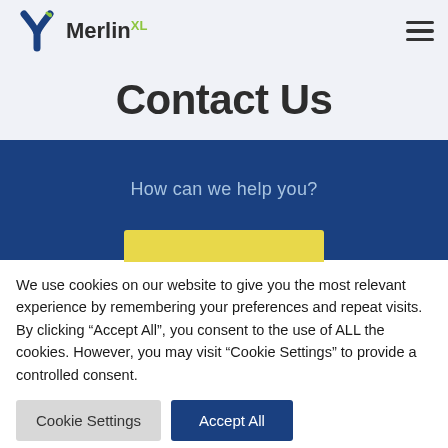Merlin XL — Contact Us page header with logo and hamburger menu
Contact Us
How can we help you?
We use cookies on our website to give you the most relevant experience by remembering your preferences and repeat visits. By clicking “Accept All”, you consent to the use of ALL the cookies. However, you may visit "Cookie Settings" to provide a controlled consent.